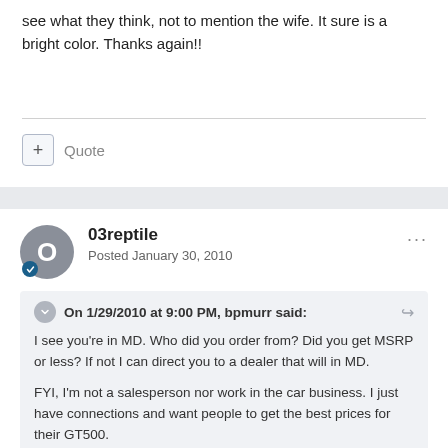see what they think, not to mention the wife. It sure is a bright color. Thanks again!!
Quote
03reptile
Posted January 30, 2010
On 1/29/2010 at 9:00 PM, bpmurr said:
I see you're in MD. Who did you order from? Did you get MSRP or less? If not I can direct you to a dealer that will in MD.
FYI, I'm not a salesperson nor work in the car business. I just have connections and want people to get the best prices for their GT500.